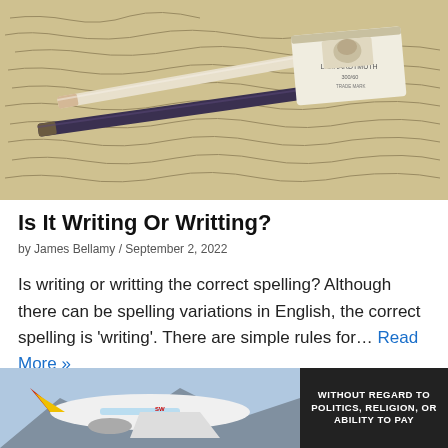[Figure (photo): Close-up photo of pencils and an eraser resting on handwritten cursive text on aged paper]
Is It Writing Or Writting?
by James Bellamy / September 2, 2022
Is writing or writting the correct spelling? Although there can be spelling variations in English, the correct spelling is 'writing'. There are simple rules for…
Read More »
[Figure (photo): Advertisement banner showing cargo airplane with colorful livery on the left, and a dark panel on the right reading WITHOUT REGARD TO POLITICS, RELIGION, OR ABILITY TO PAY]